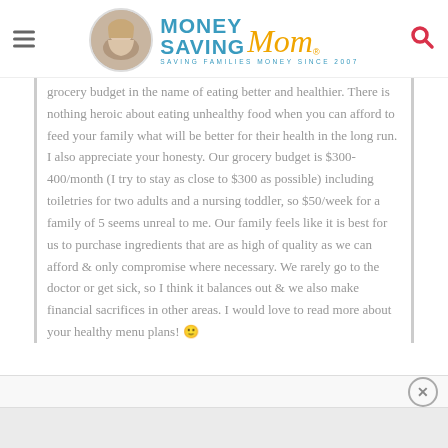Money Saving Mom® — SAVING FAMILIES MONEY SINCE 2007
grocery budget in the name of eating better and healthier. There is nothing heroic about eating unhealthy food when you can afford to feed your family what will be better for their health in the long run. I also appreciate your honesty. Our grocery budget is $300-400/month (I try to stay as close to $300 as possible) including toiletries for two adults and a nursing toddler, so $50/week for a family of 5 seems unreal to me. Our family feels like it is best for us to purchase ingredients that are as high of quality as we can afford & only compromise where necessary. We rarely go to the doctor or get sick, so I think it balances out & we also make financial sacrifices in other areas. I would love to read more about your healthy menu plans! 🙂